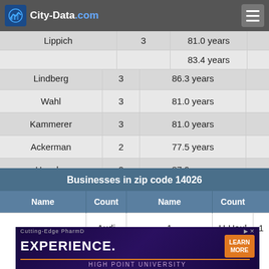City-Data.com
| Name | Count | Age |
| --- | --- | --- |
| Lippich | 3 | 81.0 years |
|  |  | 83.4 years |
| Lindberg | 3 | 86.3 years |
| Wahl | 3 | 81.0 years |
| Kammerer | 3 | 81.0 years |
| Ackerman | 2 | 77.5 years |
| Hausler | 2 | 87.9 years |
| Helwig | 2 | 78.4 years |
| Schulz | 2 | 85.6 years |
Businesses in zip code 14026
| Name | Count | Name | Count |
| --- | --- | --- | --- |
| Audi | 1 | U-Haul | 1 |
[Figure (other): Advertisement banner for High Point University Cutting-Edge PharmD Experience with Learn More button]